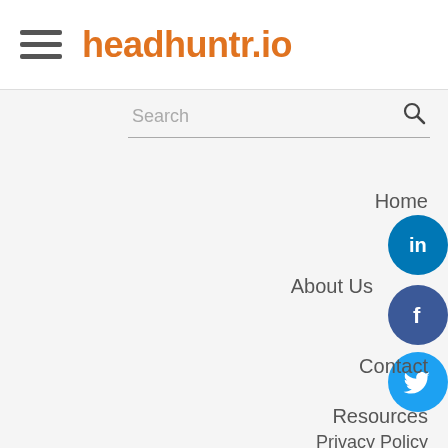headhuntr.io
Search
Home
[Figure (illustration): LinkedIn social icon - blue circle with white 'in' logo]
About Us
[Figure (illustration): Facebook social icon - dark blue circle with white 'f' logo]
[Figure (illustration): Twitter social icon - light blue circle with white bird logo]
Contact
Resources
Privacy Policy